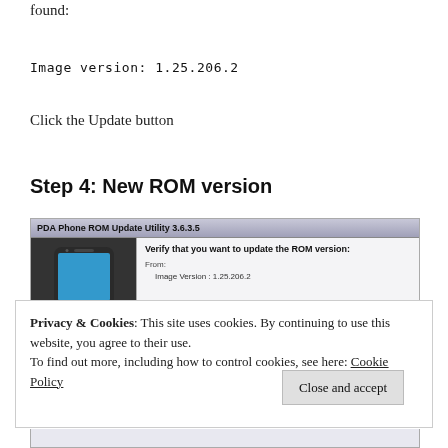found:
Image version: 1.25.206.2
Click the Update button
Step 4: New ROM version
[Figure (screenshot): PDA Phone ROM Update Utility 3.6.3.5 dialog showing 'Verify that you want to update the ROM version:' with From: Image Version: 1.25.206.2]
Privacy & Cookies: This site uses cookies. By continuing to use this website, you agree to their use.
To find out more, including how to control cookies, see here: Cookie Policy
Close and accept